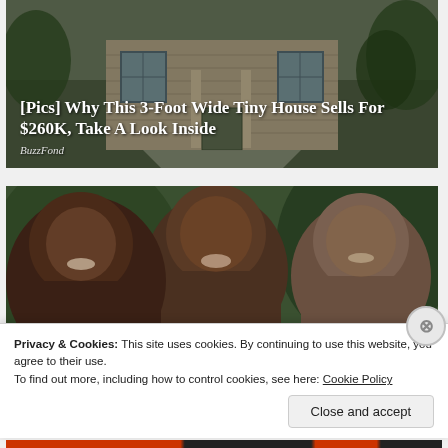[Figure (photo): Advertisement showing a house exterior with beige siding and trees]
[Pics] Why This 3-Foot Wide Tiny House Sells For $260K, Take A Look Inside
BuzzFond
[Figure (photo): Photo of three people: two women and a man smiling together outdoors]
Privacy & Cookies: This site uses cookies. By continuing to use this website, you agree to their use.
To find out more, including how to control cookies, see here: Cookie Policy
Close and accept